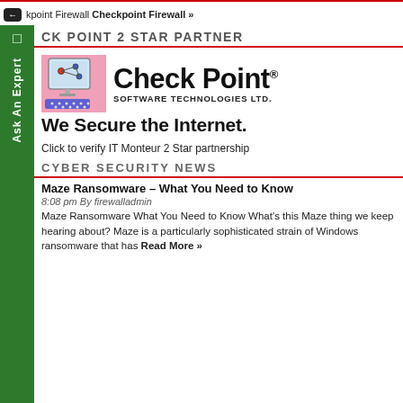← kpoint Firewall Checkpoint Firewall »
CK POINT 2 STAR PARTNER
[Figure (logo): Check Point Software Technologies Ltd. logo with computer graphic and tagline 'We Secure the Internet.']
Click to verify IT Monteur 2 Star partnership
CYBER SECURITY NEWS
Maze Ransomware – What You Need to Know
8:08 pm By firewalladmin
Maze Ransomware What You Need to Know What's this Maze thing we keep hearing about? Maze is a particularly sophisticated strain of Windows ransomware that has Read More »